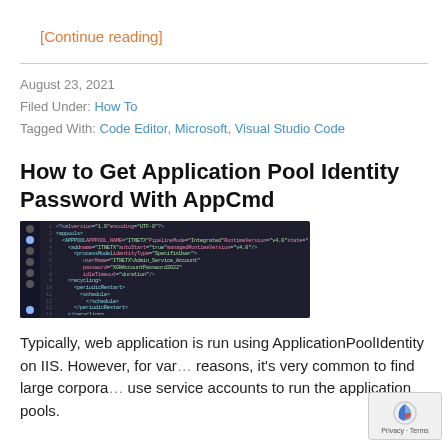[Continue reading]
August 23, 2021
Filed Under: How To
Tagged With: Code Editor, Microsoft, Visual Studio Code
How to Get Application Pool Identity Password With AppCmd
[Figure (screenshot): Screenshot of Visual Studio Code or similar editor showing XML configuration for an IIS Application Pool with identity type Specific User, service account username and password fields, recycling settings, and environment variables.]
Typically, web application is run using ApplicationPoolIdentity on IIS. However, for various reasons, it's very common to find large corporate use service accounts to run the application pools.